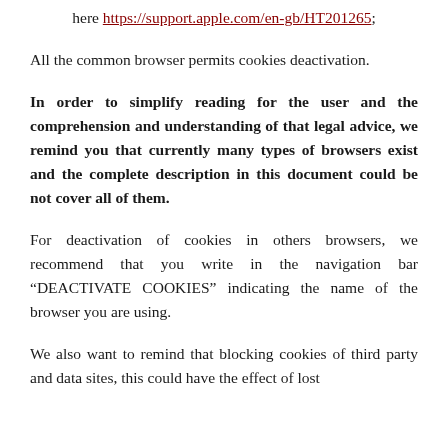here https://support.apple.com/en-gb/HT201265;
All the common browser permits cookies deactivation.
In order to simplify reading for the user and the comprehension and understanding of that legal advice, we remind you that currently many types of browsers exist and the complete description in this document could be not cover all of them.
For deactivation of cookies in others browsers, we recommend that you write in the navigation bar “DEACTIVATE COOKIES” indicating the name of the browser you are using.
We also want to remind that blocking cookies of third party and data sites, this could have the effect of lost